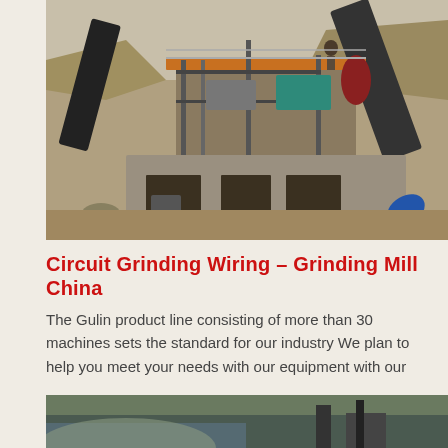[Figure (photo): Outdoor mining/crushing plant facility with steel scaffolding, conveyor belts, concrete structures, blue barrels and machinery at a quarry or mine site]
Circuit Grinding Wiring – Grinding Mill China
The Gulin product line consisting of more than 30 machines sets the standard for our industry We plan to help you meet your needs with our equipment with our
[Figure (photo): Partially visible photo of an outdoor industrial/mining site with water or terrain visible]